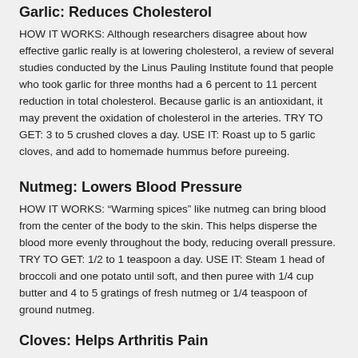Garlic: Reduces Cholesterol
HOW IT WORKS: Although researchers disagree about how effective garlic really is at lowering cholesterol, a review of several studies conducted by the Linus Pauling Institute found that people who took garlic for three months had a 6 percent to 11 percent reduction in total cholesterol. Because garlic is an antioxidant, it may prevent the oxidation of cholesterol in the arteries. TRY TO GET: 3 to 5 crushed cloves a day. USE IT: Roast up to 5 garlic cloves, and add to homemade hummus before pureeing.
Nutmeg: Lowers Blood Pressure
HOW IT WORKS: “Warming spices” like nutmeg can bring blood from the center of the body to the skin. This helps disperse the blood more evenly throughout the body, reducing overall pressure. TRY TO GET: 1/2 to 1 teaspoon a day. USE IT: Steam 1 head of broccoli and one potato until soft, and then puree with 1/4 cup butter and 4 to 5 gratings of fresh nutmeg or 1/4 teaspoon of ground nutmeg.
Cloves: Helps Arthritis Pain